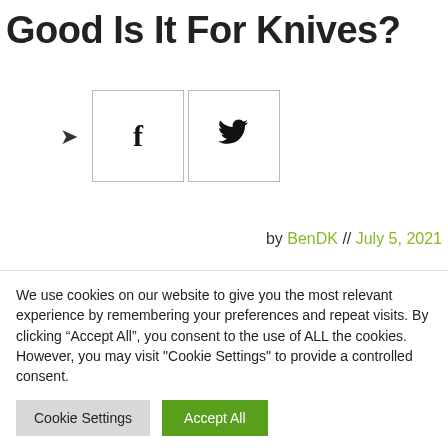Good Is It For Knives?
[Figure (infographic): Share icons: forward/share arrow, Facebook button, Twitter button]
by BenDK // July 5, 2021
[Figure (photo): Partial image of a knife or knife-related object, partially visible at bottom left]
We use cookies on our website to give you the most relevant experience by remembering your preferences and repeat visits. By clicking “Accept All”, you consent to the use of ALL the cookies. However, you may visit "Cookie Settings" to provide a controlled consent.
Cookie Settings   Accept All